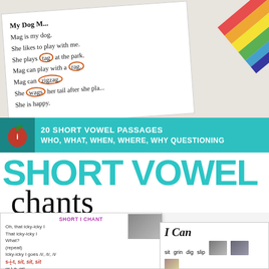[Figure (photo): Photo of a reading passage worksheet titled 'My Dog' with circled words (tag, rag, zigzag, wags) and colorful pencils/stripes in the top right corner. Text includes lines: 'Mag is my dog.', 'She likes to play with me.', 'She plays tag at the park.', 'Mag can play with a rag.', 'Mag can zigzag.', 'She can zigzag.', 'She wags her tail after she plays.', 'She is happy.']
[Figure (photo): Teal/cyan banner with a logo on the left and white bold text reading '20 SHORT VOWEL PASSAGES WHO, WHAT, WHEN, WHERE, WHY QUESTIONING']
SHORT VOWEL chants
[Figure (photo): Bottom portion showing two overlapping educational materials: (1) a Short I Chant worksheet with purple header 'SHORT I CHANT' and text: 'Oh, that icky-icky I / That icky-icky I / What? / (repeat) / Icky-icky I goes /i/, /i/, /i/ / s-i-t, sit, sit, sit / gr-i-n, grin...' with the letter i underlined in red; (2) an 'I Can' reading card showing words: sit, grin, dig, slip with small photos]